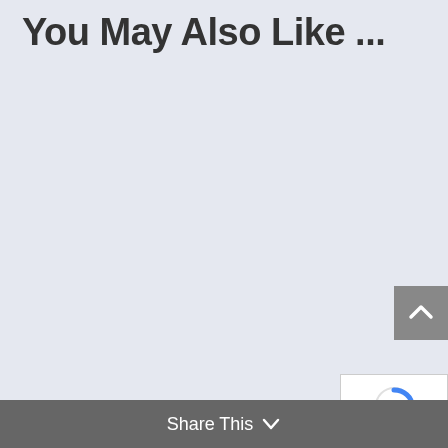You May Also Like ...
[Figure (other): Scroll-to-top button, gray square with white upward chevron arrow]
[Figure (other): reCAPTCHA badge widget with blue/gray refresh icon and Privacy - Terms text]
Share This